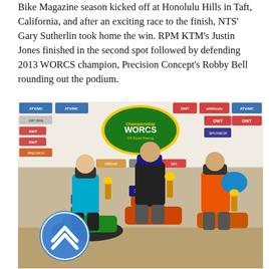Bike Magazine season kicked off at Honolulu Hills in Taft, California, and after an exciting race to the finish, NTS' Gary Sutherlin took home the win. RPM KTM's Justin Jones finished in the second spot followed by defending 2013 WORCS champion, Precision Concept's Robby Bell rounding out the podium.
[Figure (photo): Three motocross racers posing on the podium in front of a WORCS (Championship Off-Road) banner with various sponsor logos. The rider on the left is on a green bike with number 1, the center rider is on a KTM with number 324, and the rider on the right is in orange gear with number 3. A blue circle with an upward chevron/arrow icon overlaps the bottom-left of the photo.]